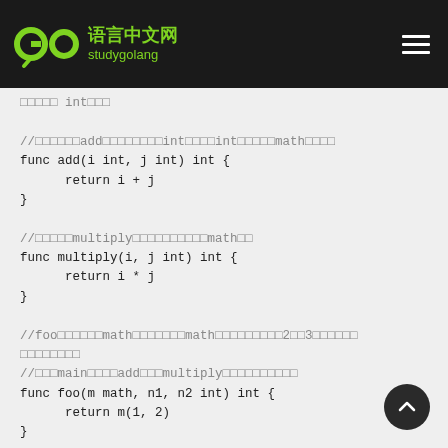Go语言中文网 studygolang
□□□□□int□□□

//□□□□□□add□□□□□□□□int□□□□int□□□□□math□□□□
func add(i int, j int) int {
      return i + j
}

//□□□□□multiply□□□□□□□□□□math□□
func multiply(i, j int) int {
      return i * j
}

//foo□□□□□□math□□□□□□□math□□□□□□□□□2□□3□□□□□□
□□□□□□□□
//□□□main□□□□add□□□multiply□□□□□□□□□□
func foo(m math, n1, n2 int) int {
      return m(1, 2)
}

func main() {